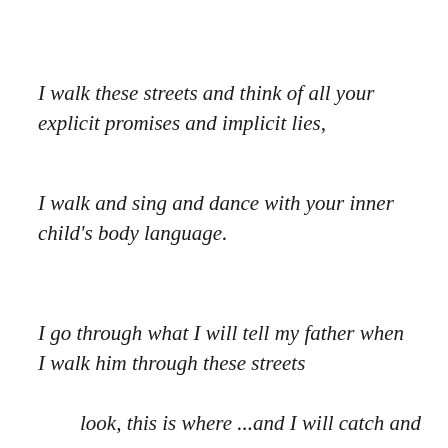I walk these streets and think of all your explicit promises and implicit lies,
I walk and sing and dance with your inner child's body language.
I go through what I will tell my father when I walk him through these streets
look, this is where ...and I will catch and